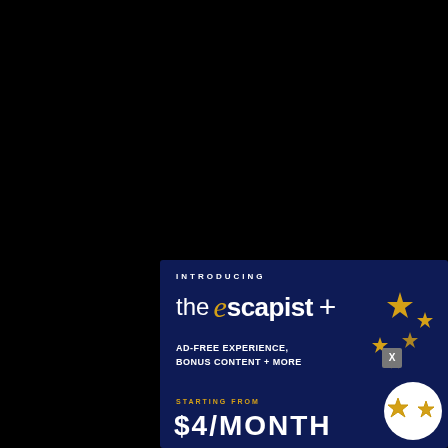[Figure (infographic): The Escapist+ subscription advertisement banner on dark navy background. Shows 'INTRODUCING' text, 'the escapist +' logo with golden cursive e, features text 'AD-FREE EXPERIENCE, BONUS CONTENT + MORE', price starting from '$4/MONTH', decorative gold stars, a white circle with star icons, and an X close button.]